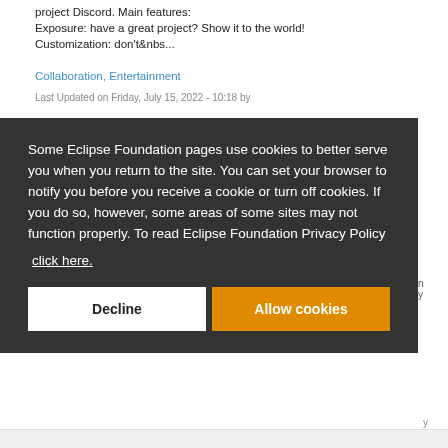project Discord. Main features: Exposure: have a great project? Show it to the world! Customization: don't&nbs...
Collaboration, Entertainment
Last Updated on Friday, July 15, 2022 - 10:18 by
Some Eclipse Foundation pages use cookies to better serve you when you return to the site. You can set your browser to notify you before you receive a cookie or turn off cookies. If you do so, however, some areas of some sites may not function properly. To read Eclipse Foundation Privacy Policy click here.
Decline
Allow cookies